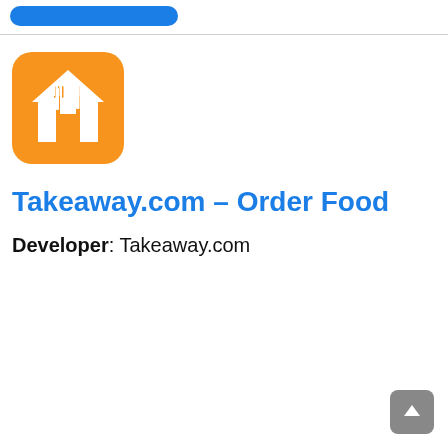[Figure (logo): Blue rounded rectangle button at top of page]
[Figure (logo): Takeaway.com app icon: orange square with white house and fork/knife silhouette]
Takeaway.com – Order Food
Developer: Takeaway.com